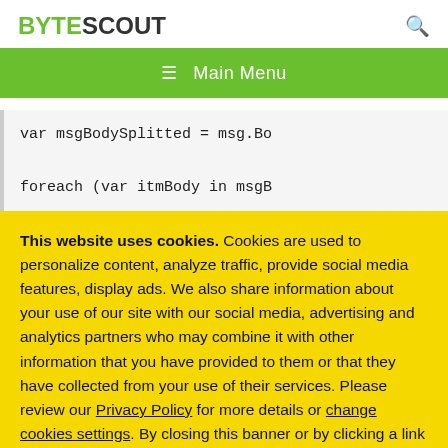BYTESCOUT
☰  Main Menu
var msgBodySplitted = msg.Bo
foreach (var itmBody in msgB
This website uses cookies. Cookies are used to personalize content, analyze traffic, provide social media features, display ads. We also share information about your use of our site with our social media, advertising and analytics partners who may combine it with other information that you have provided to them or that they have collected from your use of their services. Please review our Privacy Policy for more details or change cookies settings. By closing this banner or by clicking a link or continuing to browse otherwise, you consent to our cookies.
OK